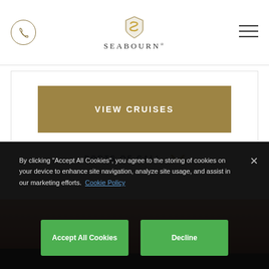Seabourn
VIEW CRUISES
PORTS OF CALL
[Figure (photo): Partial view of a sunset/dusk scene, reddish-pink sky, silhouette at the bottom]
By clicking “Accept All Cookies”, you agree to the storing of cookies on your device to enhance site navigation, analyze site usage, and assist in our marketing efforts. Cookie Policy
Accept All Cookies
Decline